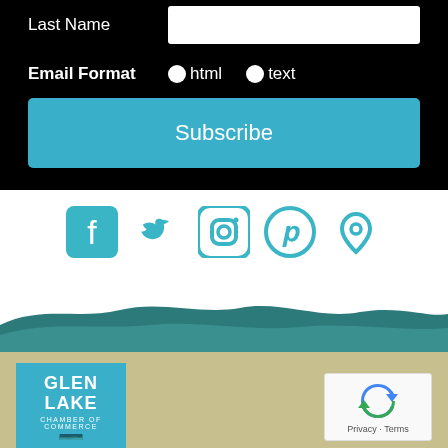Last Name
Email Format   ●html   ●text
Subscribe
[Figure (infographic): Social media icons: Facebook, Twitter, Instagram, Pinterest, Location pin — all in teal/cyan color]
[Figure (illustration): Landscape silhouette with teal rolling hills against white background]
[Figure (logo): Glen Lake Chamber of Commerce logo with teal border and wave design]
[Figure (other): reCAPTCHA widget showing circular arrow icon with Privacy - Terms text]